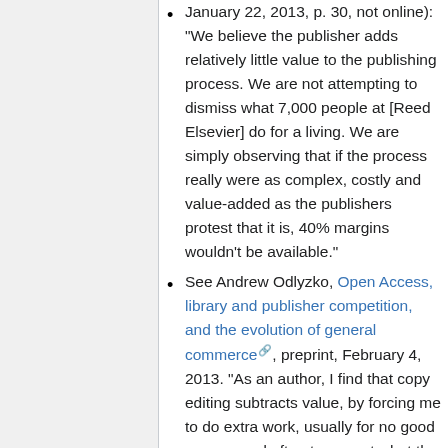January 22, 2013, p. 30, not online): "We believe the publisher adds relatively little value to the publishing process. We are not attempting to dismiss what 7,000 people at [Reed Elsevier] do for a living. We are simply observing that if the process really were as complex, costly and value-added as the publishers protest that it is, 40% margins wouldn't be available."
See Andrew Odlyzko, Open Access, library and publisher competition, and the evolution of general commerce, preprint, February 4, 2013. "As an author, I find that copy editing subtracts value, by forcing me to do extra work, usually for no good reason, and often to correct what the